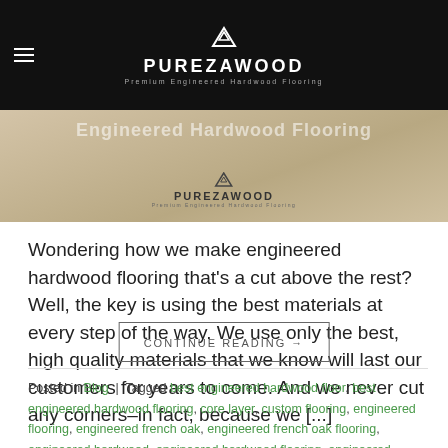[Figure (screenshot): Black navigation bar with hamburger menu icon on left, PurezaWood logo (triangle/mountain icon above PUREZAWOOD text and 'Premium Engineered Hardwood Flooring' subtitle) centered on dark background]
[Figure (photo): Hero image showing engineered hardwood flooring with PurezaWood logo overlay and faint 'Engineered Hardwood Flooring' text in background]
Wondering how we make engineered hardwood flooring that's a cut above the rest? Well, the key is using the best materials at every step of the way. We use only the best, high quality materials that we know will last our customers for years to come. And we never cut any corners–in fact, because we [...]
CONTINUE READING →
Posted in Blog | Tagged best engineered hardwood floor, best engineered hardwood flooring, core layer, custom flooring, engineered flooring, engineered french oak, engineered french oak flooring, engineered hardwood, engineered hardwood flooring, engineered hardwood flooring